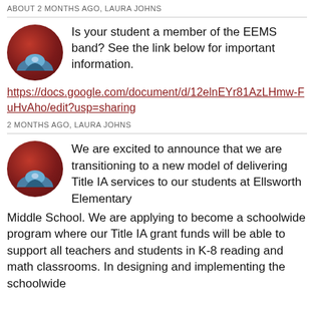ABOUT 2 MONTHS AGO, LAURA JOHNS
Is your student a member of the EEMS band? See the link below for important information.
https://docs.google.com/document/d/12elnEYr81AzLHmw-FuHvAho/edit?usp=sharing
2 MONTHS AGO, LAURA JOHNS
We are excited to announce that we are transitioning to a new model of delivering Title IA services to our students at Ellsworth Elementary Middle School. We are applying to become a schoolwide program where our Title IA grant funds will be able to support all teachers and students in K-8 reading and math classrooms. In designing and implementing the schoolwide